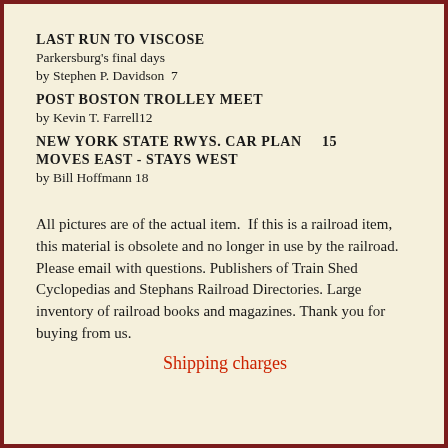LAST RUN TO VISCOSE
Parkersburg's final days
by Stephen P. Davidson  7
POST BOSTON TROLLEY MEET
by Kevin T. Farrell12
NEW YORK STATE RWYS. CAR PLAN    15
MOVES EAST - STAYS WEST
by Bill Hoffmann 18
All pictures are of the actual item.  If this is a railroad item, this material is obsolete and no longer in use by the railroad.  Please email with questions. Publishers of Train Shed Cyclopedias and Stephans Railroad Directories. Large inventory of railroad books and magazines. Thank you for buying from us.
Shipping charges